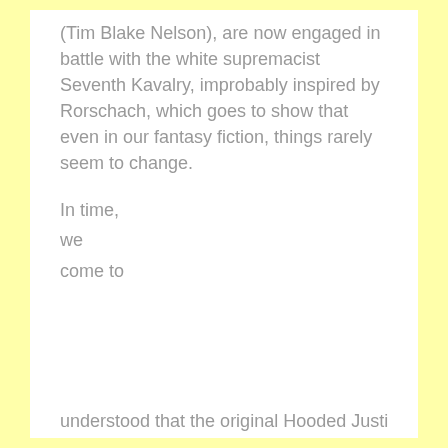(Tim Blake Nelson), are now engaged in battle with the white supremacist Seventh Kavalry, improbably inspired by Rorschach, which goes to show that even in our fantasy fiction, things rarely seem to change.
In time,
we
come to
understood that the original Hooded Justice (Juno...